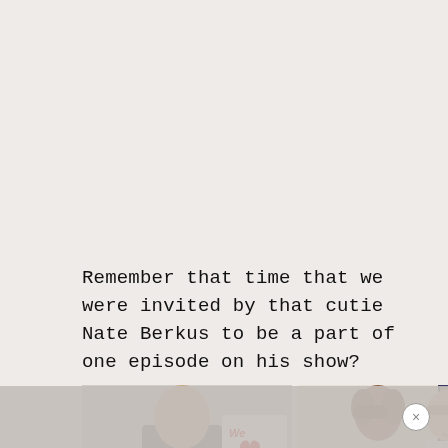Remember that time that we were invited by that cutie Nate Berkus to be a part of one episode on his show?
[Figure (photo): Two-panel photo strip: left panel shows a man in a suit next to a 'We Love Nate' sign with text 'ATE BERKUS SHOW'; right panel shows two smiling women in a bright interior setting with a patterned background.]